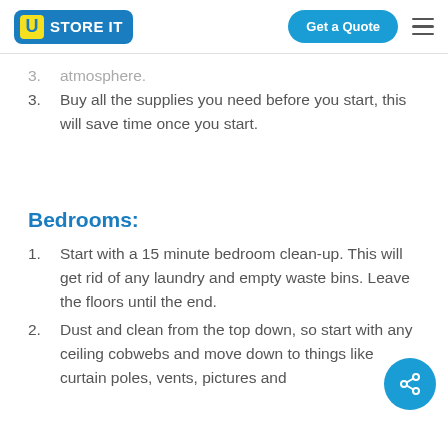U STORE IT | Get a Quote
3. Buy all the supplies you need before you start, this will save time once you start.
Bedrooms:
1. Start with a 15 minute bedroom clean-up. This will get rid of any laundry and empty waste bins. Leave the floors until the end.
2. Dust and clean from the top down, so start with any ceiling cobwebs and move down to things like curtain poles, vents, pictures and